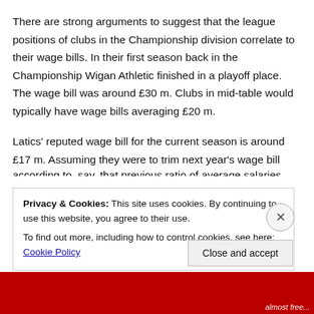There are strong arguments to suggest that the league positions of clubs in the Championship division correlate to their wage bills. In their first season back in the Championship Wigan Athletic finished in a playoff place. The wage bill was around £30 m. Clubs in mid-table would typically have wage bills averaging £20 m.
Latics' reputed wage bill for the current season is around £17 m. Assuming they were to trim next year's wage bill according to, say, that previous ratio of average salaries...
Privacy & Cookies: This site uses cookies. By continuing to use this website, you agree to their use.
To find out more, including how to control cookies, see here: Cookie Policy
Close and accept